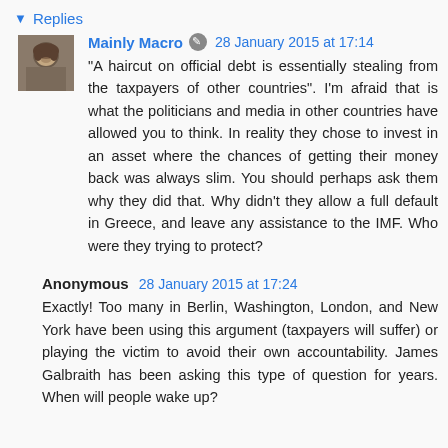Replies
Mainly Macro  28 January 2015 at 17:14
"A haircut on official debt is essentially stealing from the taxpayers of other countries". I'm afraid that is what the politicians and media in other countries have allowed you to think. In reality they chose to invest in an asset where the chances of getting their money back was always slim. You should perhaps ask them why they did that. Why didn't they allow a full default in Greece, and leave any assistance to the IMF. Who were they trying to protect?
Anonymous  28 January 2015 at 17:24
Exactly! Too many in Berlin, Washington, London, and New York have been using this argument (taxpayers will suffer) or playing the victim to avoid their own accountability. James Galbraith has been asking this type of question for years. When will people wake up?